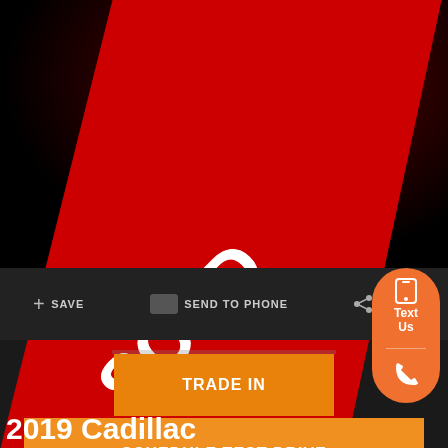[Figure (screenshot): Car dealership listing page screenshot showing a dark-themed vehicle page with a SOLD diagonal red banner over a Cadillac vehicle image. Page shows action buttons: SAVE, SEND TO PHONE, SHARE, and orange CTA buttons TRADE IN and SCHEDULE TEST DRIVE. An orange floating contact widget with phone and text options appears on the right. The bottom shows truncated text '2019 Cadillac']
COLLECTION
+ SAVE
SEND TO PHONE
SHARE
Text Us
TRADE IN
SCHEDULE TEST DRIVE
2019 Cadillac